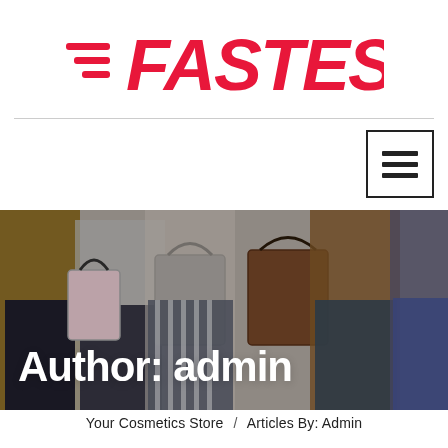[Figure (logo): FASTEST logo in bold red italic font with speed-line decoration on the left]
[Figure (photo): Group of people from waist down holding shopping bags of various colors against a light wall background, with white bold text overlay reading 'Author: admin']
Your Cosmetics Store / Articles By: Admin